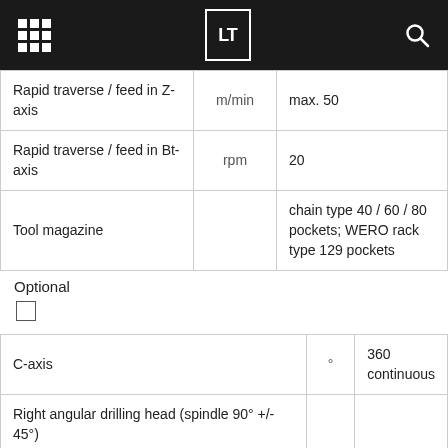LT
|  |  |  |
| --- | --- | --- |
| Rapid traverse / feed in Z-axis | m/min | max. 50 |
| Rapid traverse / feed in Bt-axis | rpm | 20 |
| Tool magazine |  | chain type 40 / 60 / 80 pockets; WERO rack type 129 pockets |
Optional
|  | ° |  |
| --- | --- | --- |
| C-axis | ° | 360 continuous |
| Right angular drilling head (spindle 90° +/- 45°) |  |  |